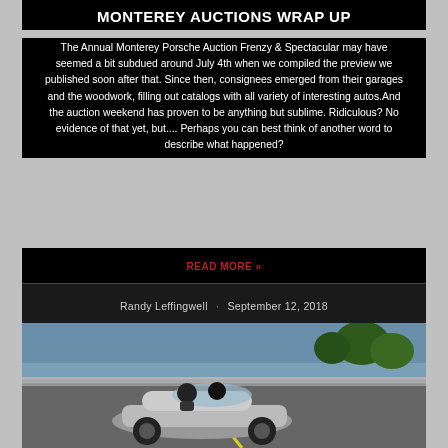MONTEREY AUCTIONS WRAP UP
The Annual Monterey Porsche Auction Frenzy & Spectacular may have seemed a bit subdued around July 4th when we compiled the preview we published soon after that. Since then, consignees emerged from their garages and the woodwork, filling out catalogs with all variety of interesting autos.And the auction weekend has proven to be anything but sublime. Ridiculous? No evidence of that yet, but.... Perhaps you can best think of another word to describe what happened?
READ MORE »
Randy Leffingwell · September 12, 2018
[Figure (photo): A silver convertible sports car (likely a Porsche) being driven on a road, with guardrails and trees in the background, photographed from a slightly elevated angle.]